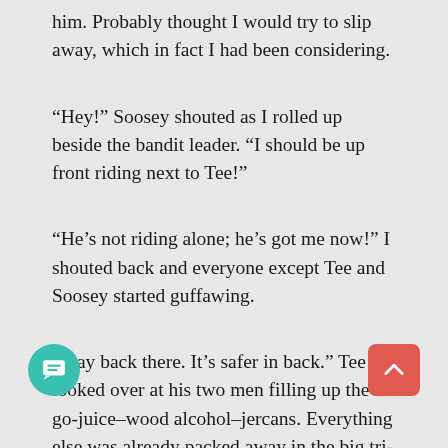him. Probably thought I would try to slip away, which in fact I had been considering.
“Hey!” Soosey shouted as I rolled up beside the bandit leader. “I should be up front riding next to Tee!”
“He’s not riding alone; he’s got me now!” I shouted back and everyone except Tee and Soosey started guffawing.
“Stay back there. It’s safer in back.” Tee looked over at his two men filling up the go-juice–wood alcohol–jercans. Everything else was already packed away in the big tri-cycle. When they